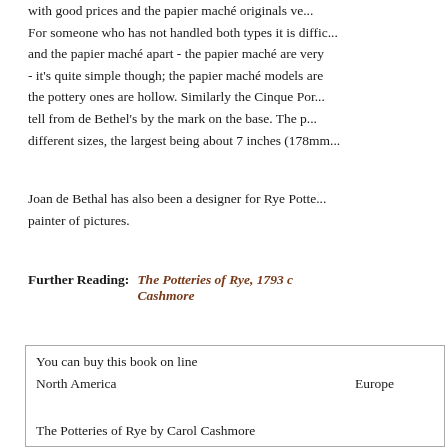with good prices and the papier maché originals ve... For someone who has not handled both types it is diffic... and the papier maché apart - the papier maché are very ... - it's quite simple though; the papier maché models are ... the pottery ones are hollow. Similarly the Cinque Por... tell from de Bethel's by the mark on the base. The p... different sizes, the largest being about 7 inches (178mm...
Joan de Bethal has also been a designer for Rye Potte... painter of pictures.
Further Reading: The Potteries of Rye, 1793 c... Cashmore
| You can buy this book on line |
| North America | Europe |
|  |  |
| The Potteries of Rye by Carol Cashmore |